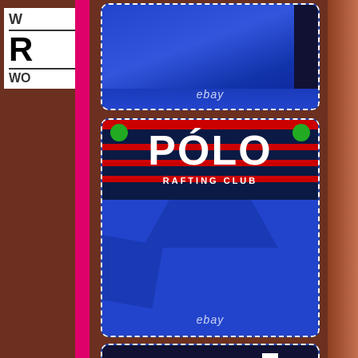[Figure (photo): Close-up of blue fabric item with ebay watermark at bottom, shown against dark background with dashed white border frame]
[Figure (photo): Blue Polo Rafting Club jacket/sweatshirt showing logo text POLO RAFTING CLUB on dark navy collar area with red stripes and green accents, blue body with ebay watermark]
[Figure (photo): Partial view of dark navy and red clothing item, bottom portion visible]